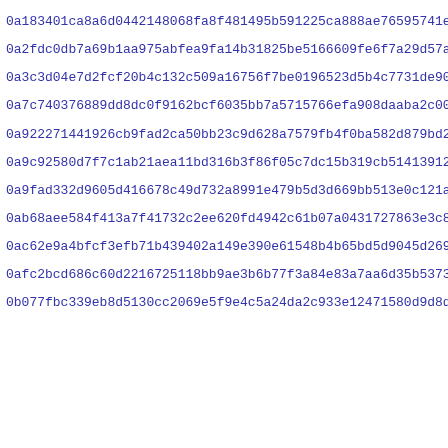0a183401ca8a6d0442148068fa8f481495b591225ca888ae76595741e720d
0a2fdc0db7a69b1aa975abfea9fa14b31825be5166609fe6f7a29d57a3228
0a3c3d04e7d2fcf20b4c132c509a16756f7be0196523d5b4c7731de90c3ab
0a7c740376889dd8dc0f9162bcf6035bb7a5715766efa908daaba2c000fe8
0a922271441926cb9fad2ca50bb23c9d628a7579fb4f0ba582d879bd25a74
0a9c92580d7f7c1ab21aea11bd316b3f86f05c7dc15b319cb51413912dd1a
0a9fad332d9605d416678c49d732a8991e479b5d3d669bb513e0c121aa87d
0ab68aee584f413a7f41732c2ee620fd4942c61b07a0431727863e3c87d90
0ac62e9a4bfcf3efb71b439402a149e390e61548b4b65bd5d9045d2694e80
0afc2bcd686c60d2216725118bb9ae3b6b77f3a84e83a7aa6d35b5373c0cb
0b077fbc339eb8d5130cc2069e5f9e4c5a24da2c933e12471580d9d8db194